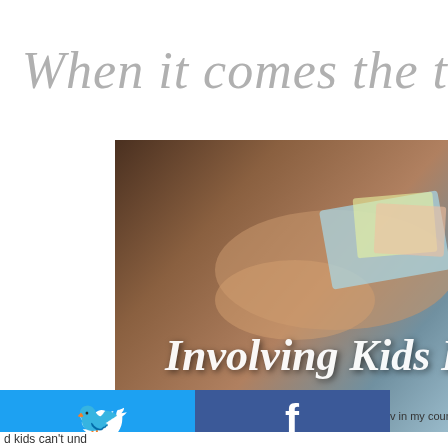When it comes the t
[Figure (photo): Child leaning over colorful printed materials/worksheets on a table, with overlay text 'Involving Kids Into Yo' and 'How To Educate Kids']
Involving Kids Into Yo
How To Educate Kids
[Figure (infographic): Social share buttons grid: Twitter (blue), Facebook (dark blue), Email (gray), WhatsApp (green), SMS (blue), Other (blue with circular icon)]
v in my country) is
good scores at te
d kids can't und